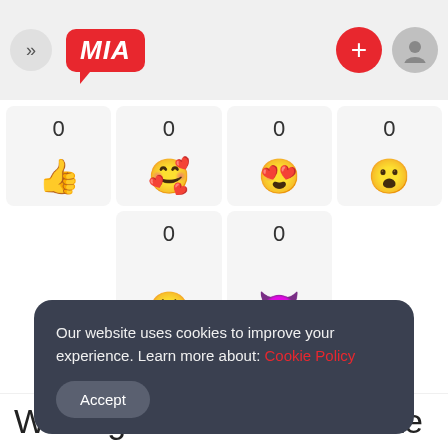MIA
[Figure (screenshot): Emoji reaction grid with counts showing 0 for thumbs up, smiling face with hearts, grinning face, and surprised face in row 1; 0 for crying face and devil face in row 2]
Our website uses cookies to improve your experience. Learn more about: Cookie Policy
Accept
Waiting for someone to like